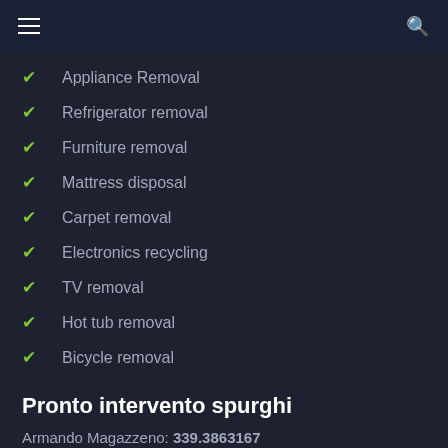Navigation bar with hamburger menu and search icon
Appliance Removal
Refrigerator removal
Furniture removal
Mattress disposal
Carpet removal
Electronics recycling
TV removal
Hot tub removal
Bicycle removal
Pronto intervento spurghi
Armando Magazzeno: 339.3863167